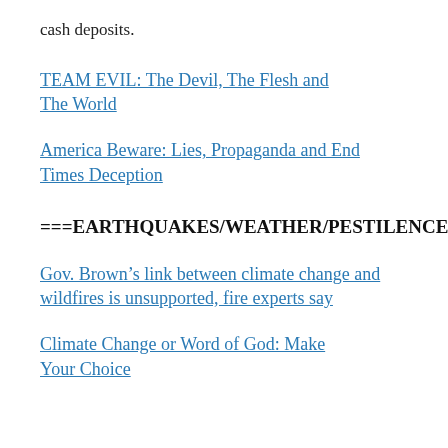cash deposits.
TEAM EVIL: The Devil, The Flesh and The World
America Beware: Lies, Propaganda and End Times Deception
===EARTHQUAKES/WEATHER/PESTILENCE
Gov. Brown's link between climate change and wildfires is unsupported, fire experts say
Climate Change or Word of God: Make Your Choice